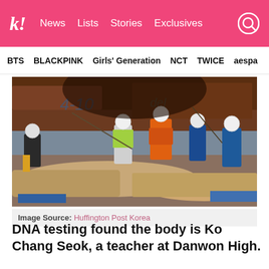k! News Lists Stories Exclusives
BTS BLACKPINK Girls' Generation NCT TWICE aespa
[Figure (photo): Workers in hard hats and protective gear working on/around a rusty shipwreck structure, with orange and blue overalls visible among several workers.]
Image Source: Huffington Post Korea
DNA testing found the body is Ko Chang Seok, a teacher at Danwon High.